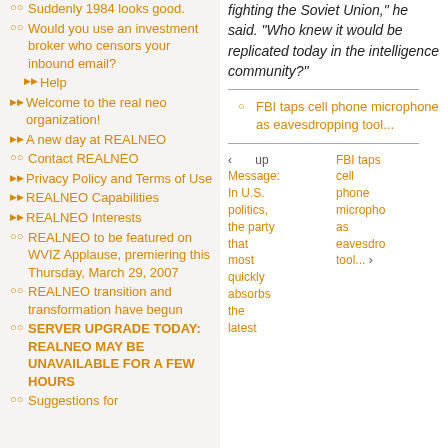Suddenly 1984 looks good.
Would you use an investment broker who censors your inbound email?
Help
Welcome to the real neo organization!
A new day at REALNEO
Contact REALNEO
Privacy Policy and Terms of Use
REALNEO Capabilities
REALNEO Interests
REALNEO to be featured on WVIZ Applause, premiering this Thursday, March 29, 2007
REALNEO transition and transformation have begun
SERVER UPGRADE TODAY: REALNEO MAY BE UNAVAILABLE FOR A FEW HOURS
Suggestions for
fighting the Soviet Union," he said. "Who knew it would be replicated today in the intelligence community?"
FBI taps cell phone microphone as eavesdropping tool...
‹  up  Message: In U.S. politics, the party that most quickly absorbs the latest    FBI taps cell phone microphone as eavesdropping tool... ›